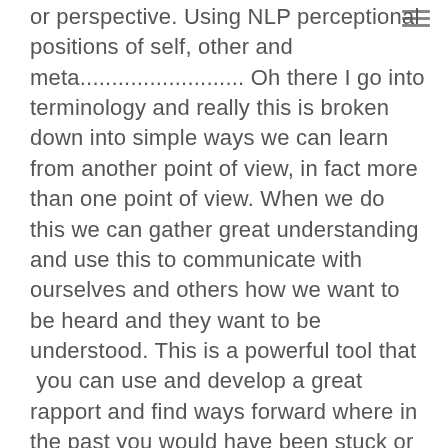or perspective. Using NLP perceptional positions of self, other and meta.......................... Oh there I go into terminology and really this is broken down into simple ways we can learn from another point of view, in fact more than one point of view. When we do this we can gather great understanding and use this to communicate with ourselves and others how we want to be heard and they want to be understood. This is a powerful tool that  you can use and develop a great rapport and find ways forward where in the past you would have been stuck or worse gong around in circles.
In this episode / podcast we learn how to take a